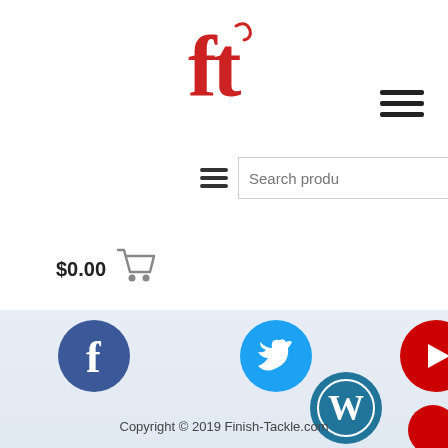[Figure (logo): Finish-Tackle.com logo: stylized 'ft' in red serif font with a fish hook]
[Figure (other): Hamburger menu icon (three horizontal lines) in top right]
[Figure (other): Search bar with placeholder 'Search produ' and red Search button, with small hamburger icon to left]
$0.00
[Figure (other): Shopping cart icon in gray]
[Figure (other): Social media icons row: Facebook (blue), Twitter (blue), YouTube (red), Pinterest (red), WordPress (teal/blue), and partially visible red icon]
Copyright © 2019 Finish-Tackle.com